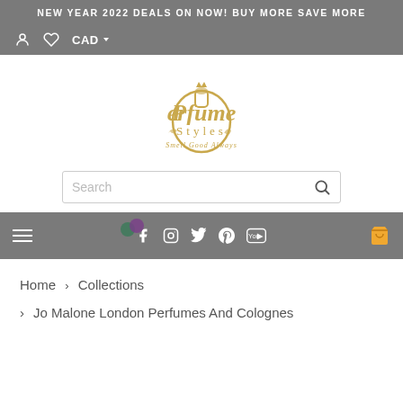NEW YEAR 2022 DEALS ON NOW! BUY MORE SAVE MORE
CAD
[Figure (logo): Perfume Styles logo with golden perfume bottle and cursive text reading 'Perfume Styles - Smell Good Always']
Search
[Figure (screenshot): Navigation bar with hamburger menu, social icons (Facebook, Instagram, Twitter, Pinterest, YouTube), and cart icon]
Home > Collections
> Jo Malone London Perfumes And Colognes